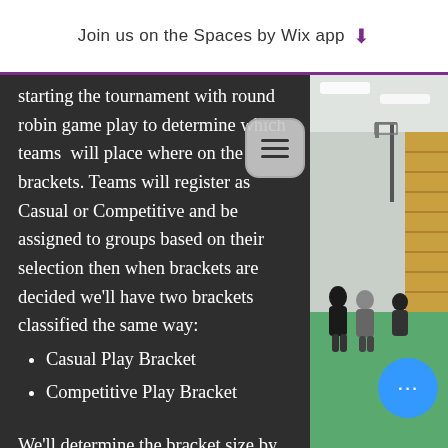Join us on the Spaces by Wix app ↓
starting the tournament with round robin game play to determine which teams will place where on the brackets. Teams will register as Casual or Competitive and be assigned to groups based on their selection then when brackets are decided we'll have two brackets classified the same way:
Casual Play Bracket
Competitive Play Bracket
We'll determine the bracket size by the number of teams signed up in each category.
[Figure (photo): Gymnasium interior with bleachers and green floor, people visible in background]